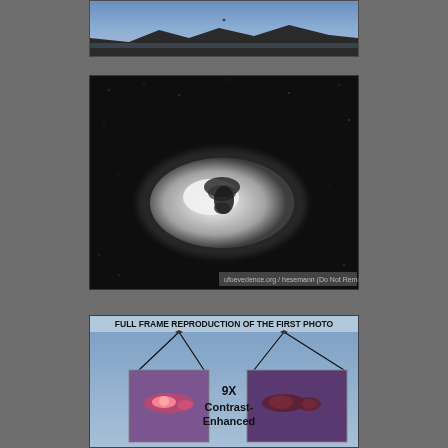[Figure (photo): Top portion of a photograph showing a blue twilight sky with a dark mountain silhouette at the bottom]
[Figure (photo): Black and white enlarged photograph showing a glowing oval/disc-shaped UFO object against a dark background. Watermark reads: ufoevedence.org / hesemann (Do Not Remove)]
[Figure (photo): Full frame reproduction of the first photo showing blue sky background with two inset zoomed images labeled '9X Contrast-Enhanced'. Left inset shows a pinkish-red glowing object, right inset shows a darker reddish-brown object.]